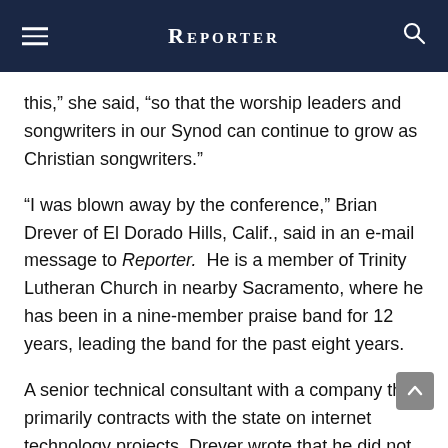REPORTER
this,” she said, “so that the worship leaders and songwriters in our Synod can continue to grow as Christian songwriters.”
“I was blown away by the conference,” Brian Drever of El Dorado Hills, Calif., said in an e-mail message to Reporter.  He is a member of Trinity Lutheran Church in nearby Sacramento, where he has been in a nine-member praise band for 12 years, leading the band for the past eight years.
A senior technical consultant with a company that primarily contracts with the state on internet technology projects, Drever wrote that he did not know what to expect from the conference, since it was the first of its kind.
At its conclusion, he said he was “very encouraged,” and